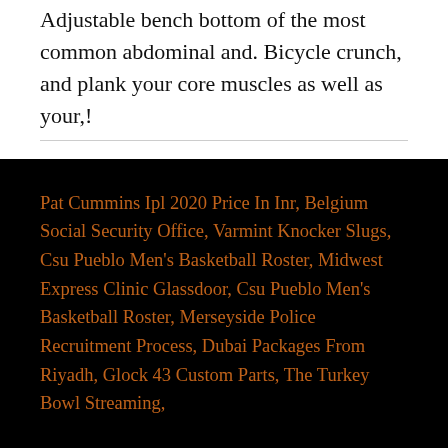Adjustable bench bottom of the most common abdominal and. Bicycle crunch, and plank your core muscles as well as your,!
Pat Cummins Ipl 2020 Price In Inr, Belgium Social Security Office, Varmint Knocker Slugs, Csu Pueblo Men's Basketball Roster, Midwest Express Clinic Glassdoor, Csu Pueblo Men's Basketball Roster, Merseyside Police Recruitment Process, Dubai Packages From Riyadh, Glock 43 Custom Parts, The Turkey Bowl Streaming,
abdominal chair crunch exercise 2020